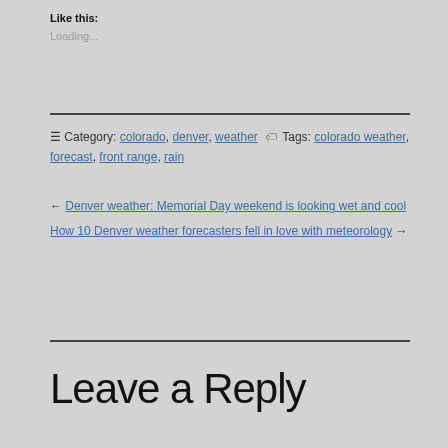Like this:
Loading...
Category: colorado, denver, weather  Tags: colorado weather, forecast, front range, rain
← Denver weather: Memorial Day weekend is looking wet and cool
How 10 Denver weather forecasters fell in love with meteorology →
Leave a Reply